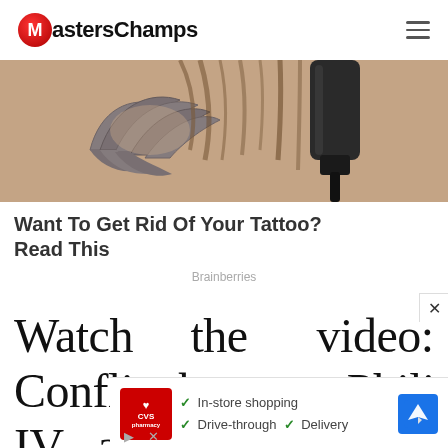MastersChamps
[Figure (photo): Close-up photo of a tattoo on skin being worked on with a tattoo needle/machine, showing a wing-like tattoo design.]
Want To Get Rid Of Your Tattoo? Read This
Brainberries
Watch the video: Conflict between Philip IV and Boniface VIII
[Figure (infographic): CVS Pharmacy advertisement showing: In-store shopping, Drive-through, Delivery options with a CVS logo and map/navigation icon.]